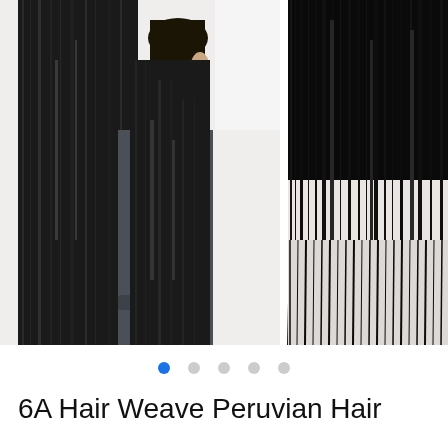[Figure (photo): Product photo showing two images side by side: on the left, a woman with long straight black hair wearing a dark grey top, shown from behind/side profile; on the right, a close-up of long straight black hair extensions/weave showing texture and ends. White background.]
Image carousel navigation dots: 5 dots with the first dot filled blue and the remaining 4 dots grey/empty
6A Hair Weave Peruvian Hair